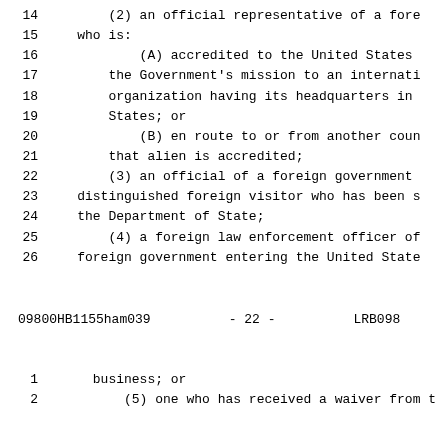14        (2) an official representative of a fore
15    who is:
16            (A) accredited to the United States
17        the Government's mission to an internati
18        organization having its headquarters in
19        States; or
20            (B) en route to or from another coun
21        that alien is accredited;
22        (3) an official of a foreign government
23    distinguished foreign visitor who has been s
24    the Department of State;
25        (4) a foreign law enforcement officer of
26    foreign government entering the United State
09800HB1155ham039          - 22 -          LRB098
1     business; or
2         (5) one who has received a waiver from t